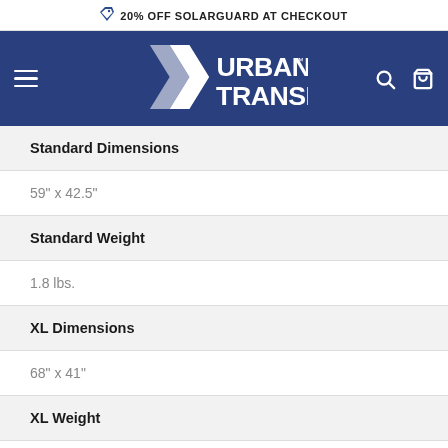20% OFF SOLARGUARD AT CHECKOUT
[Figure (logo): Urban Transit logo with stylized road/arrow mark on navy blue navigation bar]
| Specification | Value |
| --- | --- |
| Standard Dimensions | 59" x 42.5" |
| Standard Weight | 1.8 lbs. |
| XL Dimensions | 68" x 41" |
| XL Weight | 2.0 lbs. |